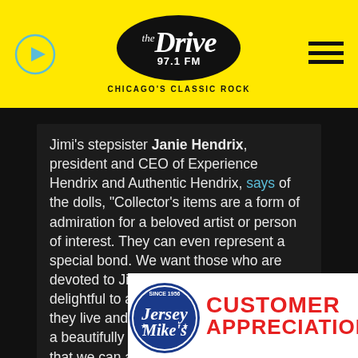[Figure (logo): The Drive 97.1 FM Chicago's Classic Rock radio station header with yellow background, play button icon, oval logo, and hamburger menu]
Jimi's stepsister Janie Hendrix, president and CEO of Experience Hendrix and Authentic Hendrix, says of the dolls, "Collector's items are a form of admiration for a beloved artist or person of interest. They can even represent a special bond. We want those who are devoted to Jimi to have something delightful to add life to the spaces where they live and work. Kollectico has created a beautifully artistic and endearing line that we can all enjoy."
Copyright © 2021, ABC Audio. All rights reserved.
[Figure (logo): Jersey Mike's Customer Appreciation advertisement with circular logo and bold red text]